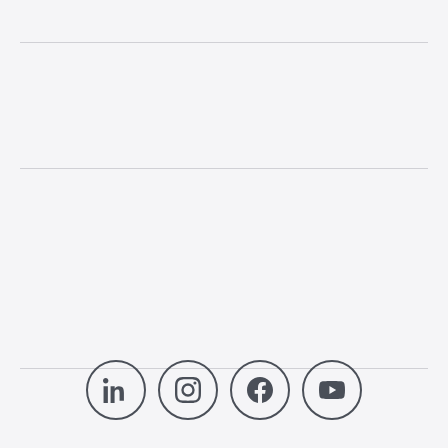[Figure (illustration): Page with horizontal divider lines creating sections and social media icons (LinkedIn, Instagram, Facebook, YouTube) at the bottom center]